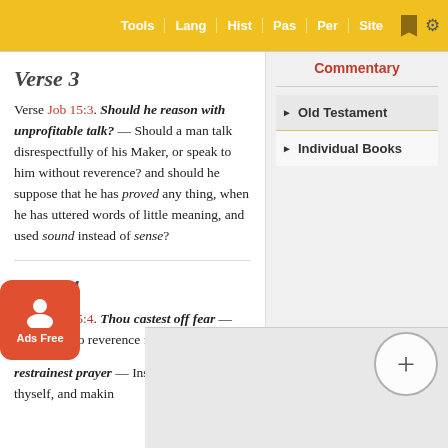Tools | Lang | Hist | Pas | Per | Site
Verse 3
Verse Job 15:3. Should he reason with unprofitable talk? — Should a man talk disrespectfully of his Maker, or speak to him without reverence? and should he suppose that he has proved any thing, when he has uttered words of little meaning, and used sound instead of sense?
Commentary
Old Testament
Individual Books
Verse 4
Verse Job 15:4. Thou castest off fear — Thou hast no reverence for God.
restrainest prayer — Instead of humbling thyself, and making me in arraig